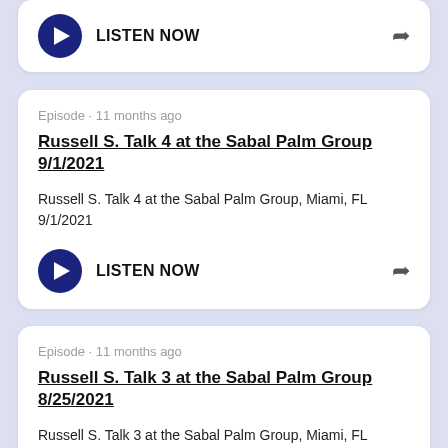LISTEN NOW
Episode · 11 months ago
Russell S. Talk 4 at the Sabal Palm Group 9/1/2021
Russell S. Talk 4 at the Sabal Palm Group, Miami, FL 9/1/2021
LISTEN NOW
Episode · 11 months ago
Russell S. Talk 3 at the Sabal Palm Group 8/25/2021
Russell S. Talk 3 at the Sabal Palm Group, Miami, FL 8/25/2021